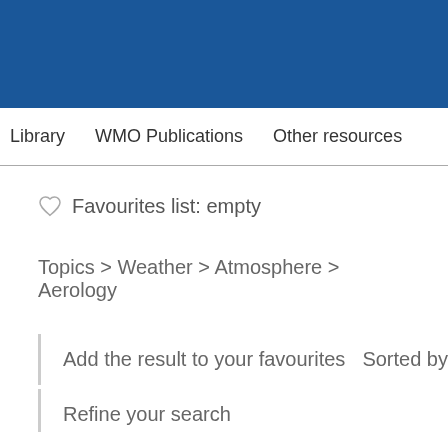[Figure (screenshot): Blue header banner for WMO library website]
Library   WMO Publications   Other resources
♡ Favourites list: empty
Topics > Weather > Atmosphere > Aerology
Add the result to your favourites   Sorted by
Refine your search